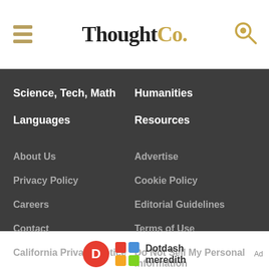ThoughtCo.
Science, Tech, Math
Humanities
Languages
Resources
About Us
Advertise
Privacy Policy
Cookie Policy
Careers
Editorial Guidelines
Contact
Terms of Use
California Privacy Notice
Do Not Sell My Personal Information
[Figure (logo): Dotdash meredith logo with colorful diamond pattern icon]
[Figure (photo): Le Vian KAY Jewelers advertisement banner with opal ring and Shop Sale button]